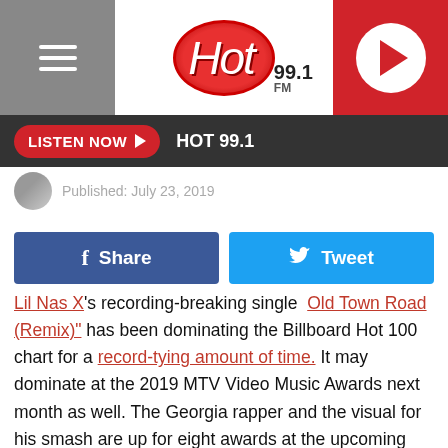Hot 99.1 FM
LISTEN NOW ▶ HOT 99.1
Published: July 23, 2019
Share | Tweet
Lil Nas X's recording-breaking single "Old Town Road (Remix)" has been dominating the Billboard Hot 100 chart for a record-tying amount of time. It may dominate at the 2019 MTV Video Music Awards next month as well. The Georgia rapper and the visual for his smash are up for eight awards at the upcoming show.
The nominees were announced on Tuesday (July 23) and the rap newcomer leads the pack for hip-hop artists and is only behind pop superstars Taylor Swift (10), Ariana Grande (10)